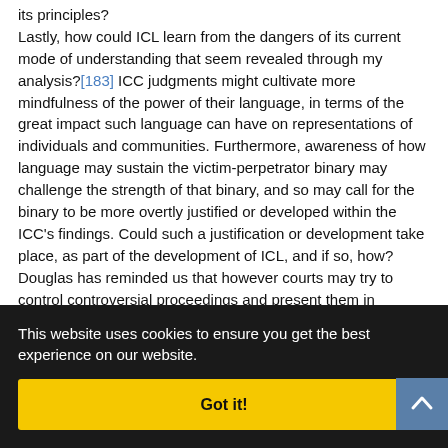its principles? Lastly, how could ICL learn from the dangers of its current mode of understanding that seem revealed through my analysis?[183] ICC judgments might cultivate more mindfulness of the power of their language, in terms of the great impact such language can have on representations of individuals and communities. Furthermore, awareness of how language may sustain the victim-perpetrator binary may challenge the strength of that binary, and so may call for the binary to be more overtly justified or developed within the ICC's findings. Could such a justification or development take place, as part of the development of ICL, and if so, how? Douglas has reminded us that however courts may try to control controversial proceedings and present them in [obscured] become [obscured] mory, in [obscured] dd, [obscured] ds its place [obscured] ciates its [obscured] y enable [obscured] and validity.[185]
This website uses cookies to ensure you get the best experience on our website.
Got it!